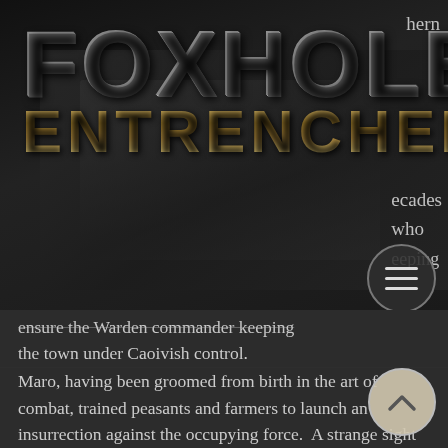[Figure (screenshot): Foxhole Entrenched game logo overlaid on dark background with soldiers imagery. Large metallic 'FOXHOLE' text above golden 'ENTRENCHED' text. Partial text visible on right side reading 'hern', 'ecades', 'who', 'eeping'. Hamburger menu button (three horizontal lines in circle) visible at right.]
the town under Caoivish control.
Maro, having been groomed from birth in the art of combat, trained peasants and farmers to launch an insurrection against the occupying force. A strange sight it must have been, a young girl teaching farmers how to fire a rifle or disarm a man. Unassuming and unexpected, the fledging leader and her crew engendered the trust of Warden command before carrying a concerted strike upon the installed officers. Once the city had been liberated, the